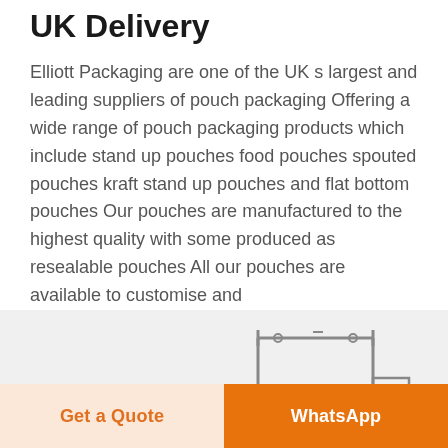UK Delivery
Elliott Packaging are one of the UK s largest and leading suppliers of pouch packaging Offering a wide range of pouch packaging products which include stand up pouches food pouches spouted pouches kraft stand up pouches and flat bottom pouches Our pouches are manufactured to the highest quality with some produced as resealable pouches All our pouches are available to customise and
[Figure (engineering-diagram): Technical line drawing of a packaging machine frame/stand up pouch forming mechanism, showing a rectangular frame with roller at top and two vertical guide channels]
Get a Quote
WhatsApp